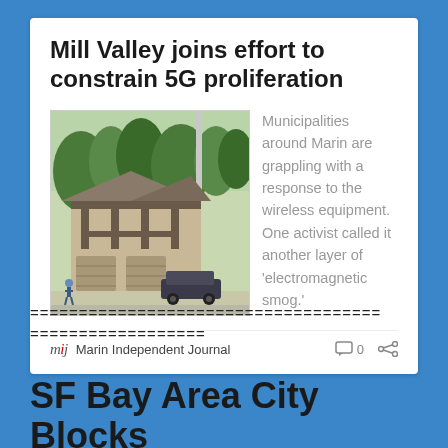Mill Valley joins effort to constrain 5G proliferation
[Figure (photo): Photograph of a building in Mill Valley, appears to be a Tudor-style structure with trees in the background, a car parked in front, and a person walking nearby.]
Municipalities around Marin are grappling with a response to the wireless equipment. One activist called it another layer of 'electromagnetic smog.'
mij  Marin Independent Journal   0
====================================
===================
SF Bay Area City Blocks